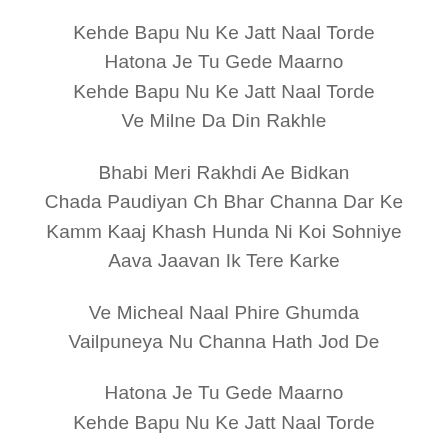Kehde Bapu Nu Ke Jatt Naal Torde
Hatona Je Tu Gede Maarno
Kehde Bapu Nu Ke Jatt Naal Torde
Ve Milne Da Din Rakhle
Bhabi Meri Rakhdi Ae Bidkan
Chada Paudiyan Ch Bhar Channa Dar Ke
Kamm Kaaj Khash Hunda Ni Koi Sohniye
Aava Jaavan Ik Tere Karke
Ve Micheal Naal Phire Ghumda
Vailpuneya Nu Channa Hath Jod De
Hatona Je Tu Gede Maarno
Kehde Bapu Nu Ke Jatt Naal Torde